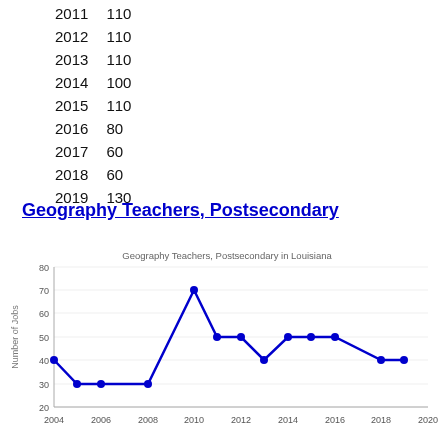| Year | Value |
| --- | --- |
| 2011 | 110 |
| 2012 | 110 |
| 2013 | 110 |
| 2014 | 100 |
| 2015 | 110 |
| 2016 | 80 |
| 2017 | 60 |
| 2018 | 60 |
| 2019 | 130 |
Geography Teachers, Postsecondary
[Figure (line-chart): Geography Teachers, Postsecondary in Louisiana]